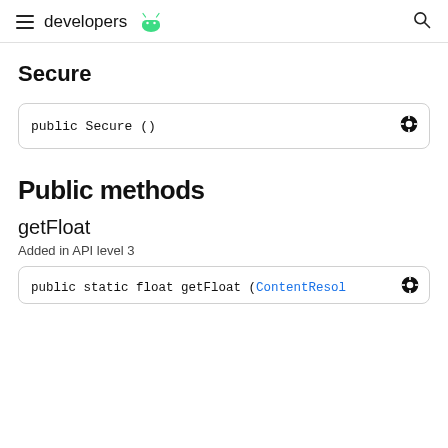developers [android logo]
Secure
public Secure ()
Public methods
getFloat
Added in API level 3
public static float getFloat (ContentResolver